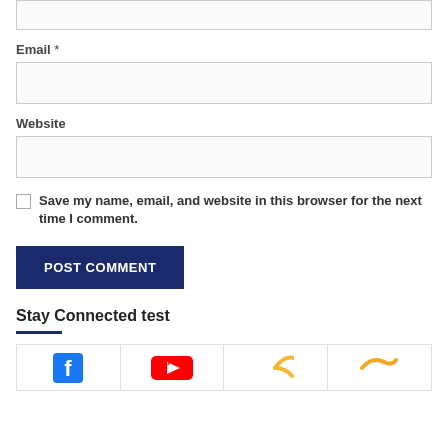Email *
Website
Save my name, email, and website in this browser for the next time I comment.
POST COMMENT
Stay Connected test
[Figure (screenshot): Social media icons grid with 4 cells showing partial logos: Facebook (blue), YouTube (red), and two others partially visible]